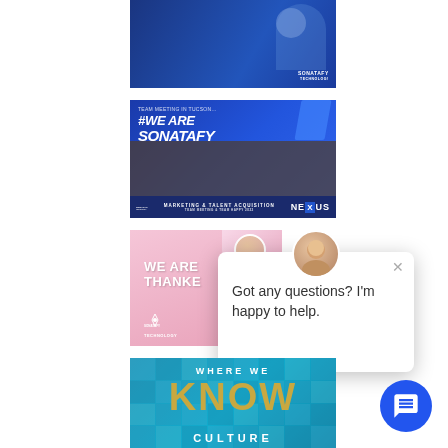[Figure (photo): Partial image of a man smiling in a blue-themed corporate setting with Sonatafy Technology branding]
[Figure (photo): #WEARESONATAFY team photo with group of people at a meeting, Sonatafy Technology marketing and talent acquisition banner, NEXUS branding at bottom]
[Figure (photo): Pink background image with text WE ARE THANKFUL and Sonatafy logo]
[Figure (screenshot): Chat popup widget showing avatar, close button, and message: Got any questions? I'm happy to help.]
[Figure (photo): Teal/blue background image with text WHERE WE KNOW CULTURE in large stylized typography]